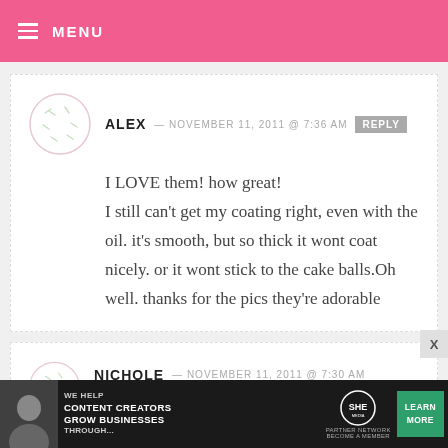MENU
ALEX — NOVEMBER 11, 2011 @ 7:36 AM  REPLY
I LOVE them! how great!
I still can't get my coating right, even with the oil. it's smooth, but so thick it wont coat nicely. or it wont stick to the cake balls.Oh well. thanks for the pics they're adorable
NICHOLE — NOVEMBER 11, 2011 @ 7:30 AM  REPLY
[Figure (other): Advertisement banner: SHE Media Partner Network — We help content creators grow businesses through... Learn More]